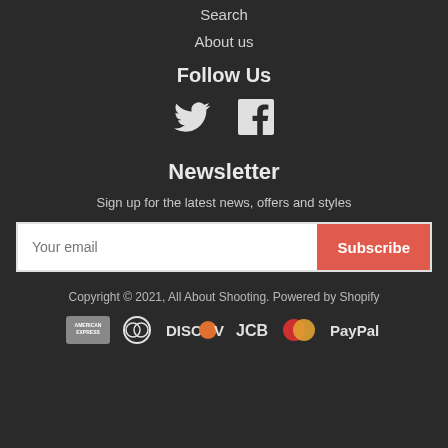Search
About us
Follow Us
[Figure (other): Twitter and Facebook social media icons]
Newsletter
Sign up for the latest news, offers and styles
Your email | Subscribe
Copyright © 2021, All About Shooting. Powered by Shopify
[Figure (other): Payment method icons: American Express, Diners Club, Discover, JCB, Mastercard, PayPal]